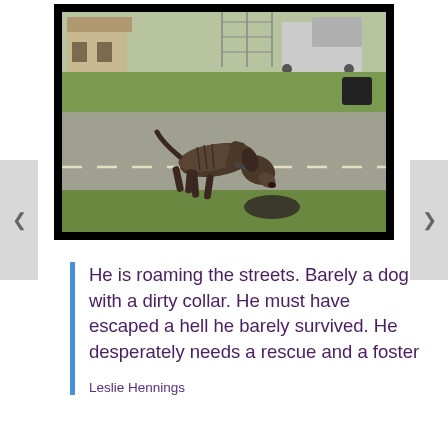[Figure (photo): A very thin, emaciated dog with a collar walking on a road, with green grass, a chain-link fence, and a truck visible in the background.]
He is roaming the streets. Barely a dog with a dirty collar. He must have escaped a hell he barely survived. He desperately needs a rescue and a foster
Leslie Hennings